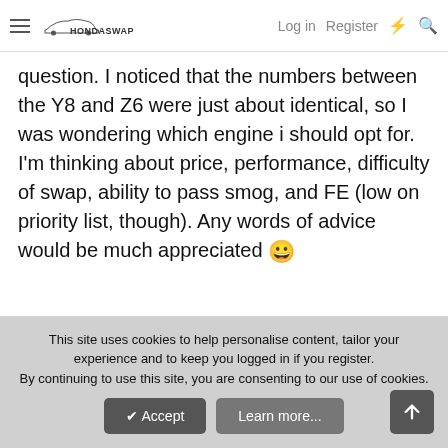HondaSwap — Log in | Register
question. I noticed that the numbers between the Y8 and Z6 were just about identical, so I was wondering which engine i should opt for. I'm thinking about price, performance, difficulty of swap, ability to pass smog, and FE (low on priority list, though). Any words of advice would be much appreciated 😀
This site uses cookies to help personalise content, tailor your experience and to keep you logged in if you register. By continuing to use this site, you are consenting to our use of cookies.